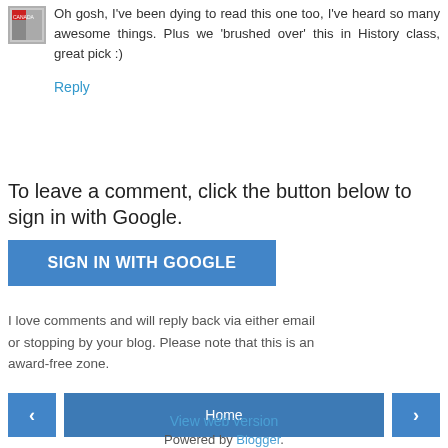Oh gosh, I've been dying to read this one too, I've heard so many awesome things. Plus we 'brushed over' this in History class, great pick :)
Reply
To leave a comment, click the button below to sign in with Google.
SIGN IN WITH GOOGLE
I love comments and will reply back via either email or stopping by your blog. Please note that this is an award-free zone.
< Home >
View web version
Powered by Blogger.